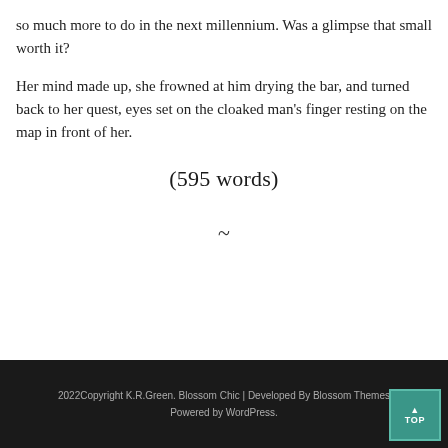so much more to do in the next millennium. Was a glimpse that small worth it?
Her mind made up, she frowned at him drying the bar, and turned back to her quest, eyes set on the cloaked man's finger resting on the map in front of her.
(595 words)
~
2022Copyright K.R.Green. Blossom Chic | Developed By Blossom Themes Powered by WordPress.